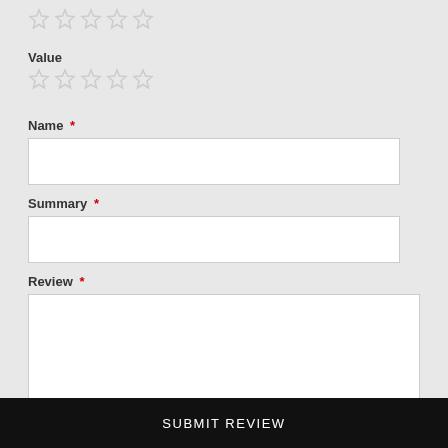[Figure (other): Five empty star rating icons (top row, no label)]
Value
[Figure (other): Five empty star rating icons for Value]
Name *
Summary *
Review *
SUBMIT REVIEW